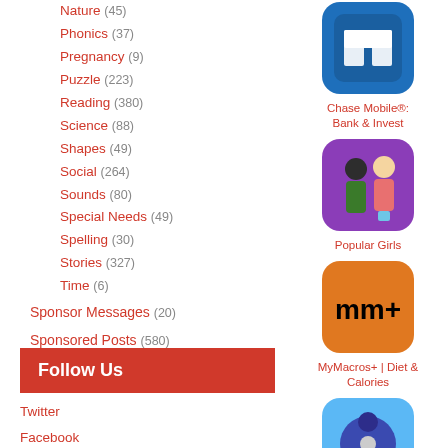Nature (45)
Phonics (37)
Pregnancy (9)
Puzzle (223)
Reading (380)
Science (88)
Shapes (49)
Social (264)
Sounds (80)
Special Needs (49)
Spelling (30)
Stories (327)
Time (6)
Sponsor Messages (20)
Sponsored Posts (580)
Uncategorized (20)
Follow Us
Twitter
Facebook
RSS - Main Feed
RSS - Latest Price Drops
[Figure (screenshot): Chase Mobile: Bank & Invest app icon - blue square with white crown symbol]
Chase Mobile®: Bank & Invest
[Figure (screenshot): Popular Girls app icon - two cartoon girl characters on purple background]
Popular Girls
[Figure (screenshot): MyMacros+ Diet & Calories app icon - orange background with mm+ text]
MyMacros+ | Diet & Calories
[Figure (screenshot): Fidget Toy Maker app icon - colorful toys on blue background]
Fidget Toy Maker